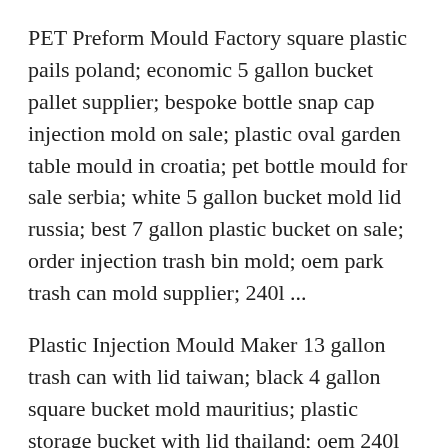PET Preform Mould Factory square plastic pails poland; economic 5 gallon bucket pallet supplier; bespoke bottle snap cap injection mold on sale; plastic oval garden table mould in croatia; pet bottle mould for sale serbia; white 5 gallon bucket mold lid russia; best 7 gallon plastic bucket on sale; order injection trash bin mold; oem park trash can mold supplier; 240l ...
Plastic Injection Mould Maker 13 gallon trash can with lid taiwan; black 4 gallon square bucket mold mauritius; plastic storage bucket with lid thailand; oem 240l outdoor dustbin mould dealer; high quality pet bottle mold dealer; medical garbage bin mold argentina; cheap hdpe trash can producer; high quality shampoo cap mould dealer; plastic yard table mould in ireland
Elite plastic injection mould tooling ltd Use the least cost to achieve the product quality required by customers. No